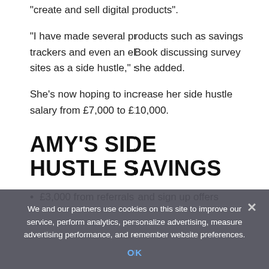"create and sell digital products".
"I have made several products such as savings trackers and even an eBook discussing survey sites as a side hustle," she added.
She's now hoping to increase her side hustle salary from £7,000 to £10,000.
AMY'S SIDE HUSTLE SAVINGS
£3,000 from referrals and sign up offers
We and our partners use cookies on this site to improve our service, perform analytics, personalize advertising, measure advertising performance, and remember website preferences.
OK